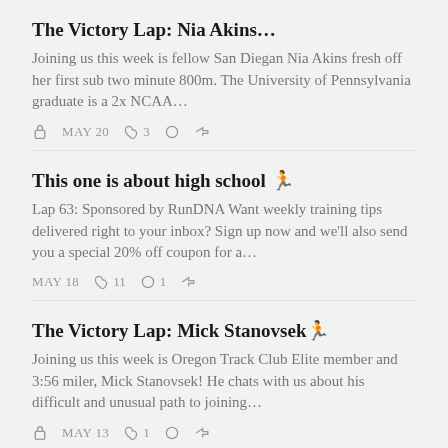The Victory Lap: Nia Akins…
Joining us this week is fellow San Diegan Nia Akins fresh off her first sub two minute 800m. The University of Pennsylvania graduate is a 2x NCAA…
MAY 20  ♡ 3  ○  ↗
This one is about high school 🏃
Lap 63: Sponsored by RunDNA Want weekly training tips delivered right to your inbox? Sign up now and we'll also send you a special 20% off coupon for a…
MAY 18  ♡ 11  ○ 1  ↗
The Victory Lap: Mick Stanovsek🏃
Joining us this week is Oregon Track Club Elite member and 3:56 miler, Mick Stanovsek! He chats with us about his difficult and unusual path to joining…
MAY 13  ♡ 1  ○  ↗
T… (partial)